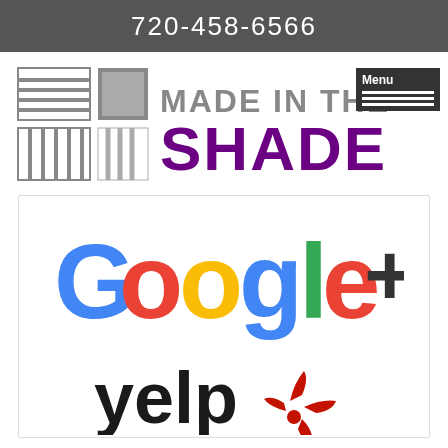720-458-6566
[Figure (logo): Made In The Shade blinds/shades logo with window covering icons and purple SHADE text]
[Figure (logo): Google+ logo in Google colors (blue, red, yellow, green) with dark plus sign]
[Figure (logo): Yelp logo with black text and red burst icon]